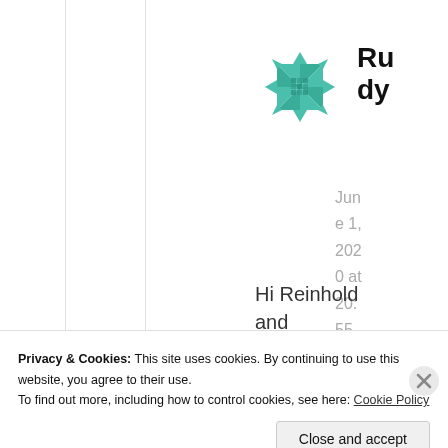[Figure (logo): Green geometric snowflake/quilt pattern logo icon]
Rudy
June 1, 2020 at 20:55
Hi Reinhold and
Privacy & Cookies: This site uses cookies. By continuing to use this website, you agree to their use.
To find out more, including how to control cookies, see here: Cookie Policy
Close and accept